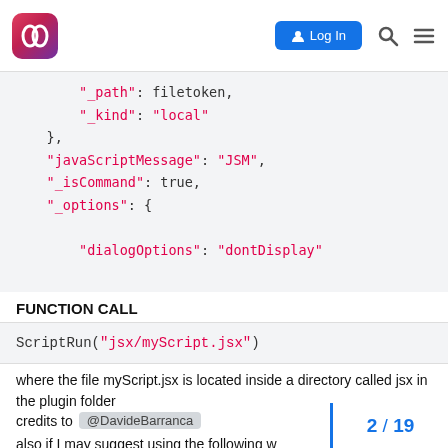Adobe Creative Cloud community forum header with Log In button, search and menu icons
[Figure (screenshot): Code block showing JSON/script snippet with _path: filetoken, _kind: local, javaScriptMessage: JSM, _isCommand: true, _options: { dialogOptions: dontDisplay]
FUNCTION CALL
[Figure (screenshot): Code block showing: ScriptRun("jsx/myScript.jsx")]
where the file myScript.jsx is located inside a directory called jsx in the plugin folder
credits to @DavideBarranca
also if I may suggest using the following w…
2 / 19